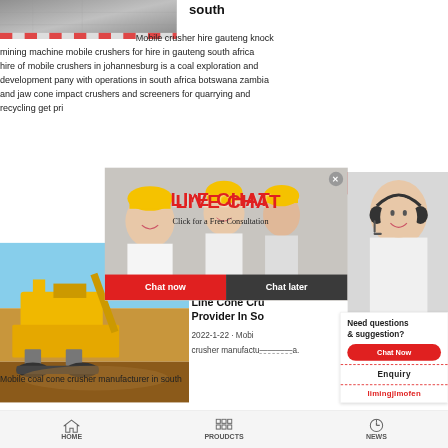[Figure (photo): Top photo of gravel/stone railyard or mining area, grey stones and red/white striped barriers]
south
Mobile crusher hire gauteng knock mining machine mobile crushers for hire in gauteng south africa hire of mobile crushers in johannesburg is a coal exploration and development pany with operations in south africa botswana zambia and jaw cone impact crushers and screeners for quarrying and recycling get price mobile crusher china.
[Figure (photo): Live Chat popup overlay showing workers in yellow hard hats, with LIVE CHAT text in red, Click for a Free Consultation subtitle, Chat now and Chat later buttons]
[Figure (photo): 24Hrs Online banner with headset customer service woman on the right side]
[Figure (photo): Mining machinery/crusher equipment in outdoor setting with blue sky and earth piles]
Line Cone Cru Provider In So
2022-1-22 · Mobi crusher manufactu a.
Mobile coal cone crusher manufacturer in south
Need questions & suggestion?
Chat Now
Enquiry
limingjlmofen
HOME   PROUDCTS   NEWS